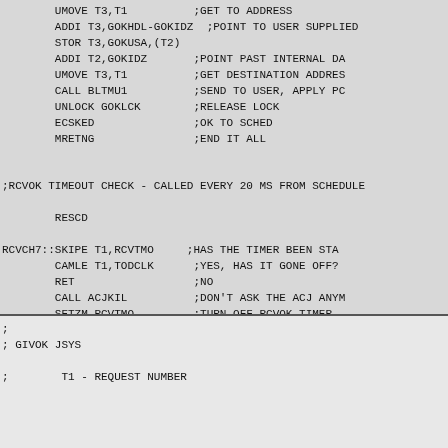UMOVE T3,T1   ;GET TO ADDRESS
ADDI T3,GOKHDL-GOKIDZ   ;POINT TO USER SUPPLIED
STOR T3,GOKUSA,(T2)
ADDI T2,GOKIDZ   ;POINT PAST INTERNAL DA
UMOVE T3,T1   ;GET DESTINATION ADDRES
CALL BLTMU1   ;SEND TO USER, APPLY PC
UNLOCK GOKLCK   ;RELEASE LOCK
ECSKED   ;OK TO SCHED
MRETNG   ;END IT ALL


;RCVOK TIMEOUT CHECK - CALLED EVERY 20 MS FROM SCHEDULE

        RESCD

RCVCH7::SKIPE T1,RCVTMO   ;HAS THE TIMER BEEN STA
        CAMLE T1,TODCLK   ;YES, HAS IT GONE OFF?
        RET   ;NO
        CALL ACJKIL   ;DON'T ASK THE ACJ ANYM
        SETZM RCVTMO   ;TURN OFF RCVOK TIMER
        BUG (RCVTMR)   ;SAY RCVOK TIMEOUT OCCU
        RET
;
; GIVOK JSYS
;
;        T1 - REQUEST NUMBER